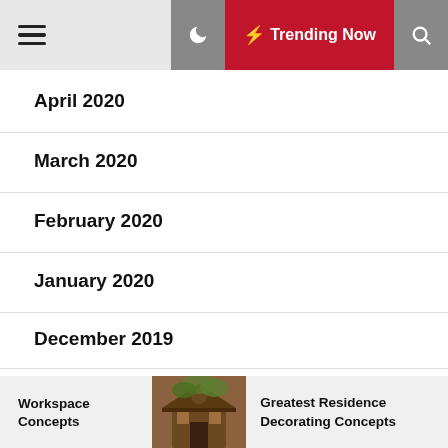Trending Now
April 2020
March 2020
February 2020
January 2020
December 2019
November 2019
October 2019
Workspace Concepts | Greatest Residence Decorating Concepts